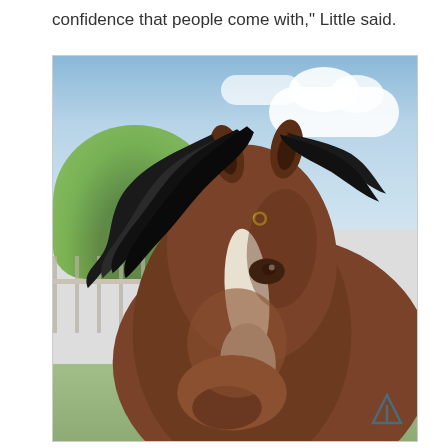confidence that people come with," Little said.
[Figure (photo): Close-up portrait photograph of a horse with a black mane blowing in the wind, brown coat with white blaze on face, photographed outdoors with blue sky, white clouds, and green foliage in the background. A white fence is partially visible. A small logo/watermark is visible in the bottom right corner.]